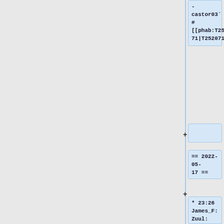-castor03`
#
[[phab:T252071|T252071]]
== 2022-05-17 ==
* 23:26 James_F: Zuul: [mediawiki/extensions/Phonos] Install basic quibble CI for [[phab:T308558|T308558]]